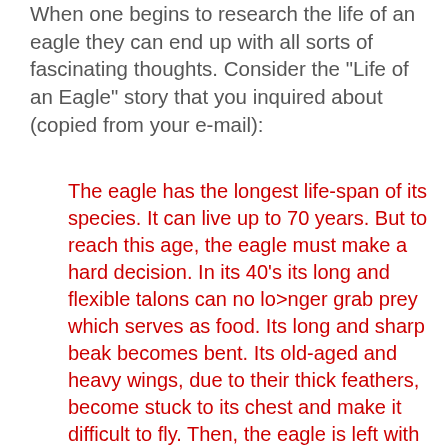When one begins to research the life of an eagle they can end up with all sorts of fascinating thoughts. Consider the "Life of an Eagle" story that you inquired about (copied from your e-mail):
The eagle has the longest life-span of its species. It can live up to 70 years. But to reach this age, the eagle must make a hard decision. In its 40's its long and flexible talons can no lo>nger grab prey which serves as food. Its long and sharp beak becomes bent. Its old-aged and heavy wings, due to their thick feathers, become stuck to its chest and make it difficult to fly. Then, the eagle is left with only two options: die or go through a painful process of change which lasts 150 days. The process requires that the eagle fly to a mountaintop and sit on its nest. There the eagle knocks its beak against a rock until it plucks it out. After plucking it out, the eagle will wait for a new beak to